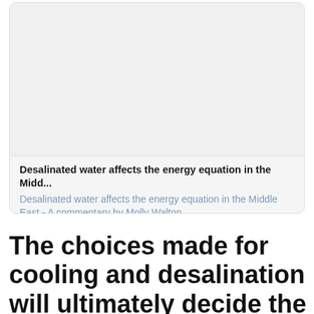[Figure (other): Card UI element with a light gray image placeholder area at top, followed by a bold title and subtitle text below.]
Desalinated water affects the energy equation in the Midd...
Desalinated water affects the energy equation in the Middle East - A commentary by Molly Walton
The choices made for cooling and desalination will ultimately decide the region's emissions trajectory going